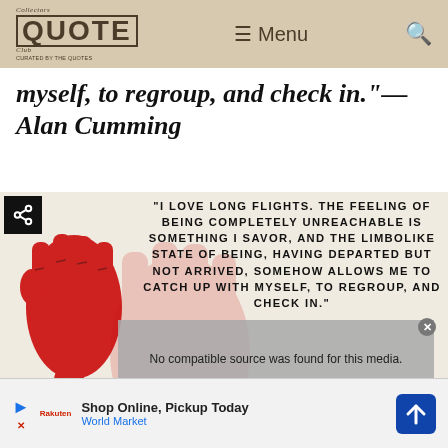Collectors Quote Club — Menu
myself, to regroup, and check in."—Alan Cumming
[Figure (illustration): Quote image with red raised fist illustration and bold uppercase text reading: "I LOVE LONG FLIGHTS. THE FEELING OF BEING COMPLETELY UNREACHABLE IS SOMETHING I SAVOR, AND THE LIMBOLIKE STATE OF BEING, HAVING DEPARTED BUT NOT ARRIVED, SOMEHOW ALLOWS ME TO CATCH UP WITH MYSELF, TO REGROUP, AND CHECK IN." —ALAN CUMMING]
No compatible source was found for this media.
Shop Online, Pickup Today
World Market